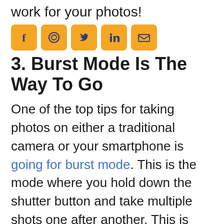work for your photos!
[Figure (other): Social media share icons: Facebook, WhatsApp, Twitter, LinkedIn, Email]
3. Burst Mode Is The Way To Go
One of the top tips for taking photos on either a traditional camera or your smartphone is going for burst mode. This is the mode where you hold down the shutter button and take multiple shots one after another. This is going to help you ensure you get that shot you're really going for. If you're taking photos of moving scenery, this is a great way to make sure you get at least one shot that looks good. Plus, this is available on both traditional cameras and on your smartphone, so it